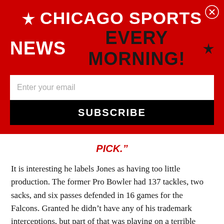[Figure (other): Red banner with Chicago Sports News Every Morning newsletter signup, including email input field and subscribe button]
PICK.”
It is interesting he labels Jones as having too little production. The former Pro Bowler had 137 tackles, two sacks, and six passes defended in 16 games for the Falcons. Granted he didn’t have any of his trademark interceptions, but part of that was playing on a terrible defense and in a new 3-4 scheme under coordinator